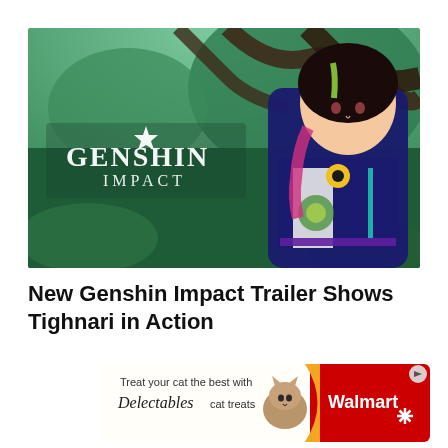[Figure (screenshot): Genshin Impact game screenshot showing the character Tighnari — an anime-style character with cat ears, dark hair with green highlights, wearing a dark blue outfit with yellow flower, holding a glowing orb. The Genshin Impact logo is overlaid on the left side. Background shows a lush green fantasy forest.]
New Genshin Impact Trailer Shows Tighnari in Action
[Figure (illustration): Walmart advertisement banner: 'Treat your cat the best with Delectables cat treats' text on left with a cat photo in the center, and Walmart logo with spark icon on red background on the right. A small video/play icon appears in the top right corner.]